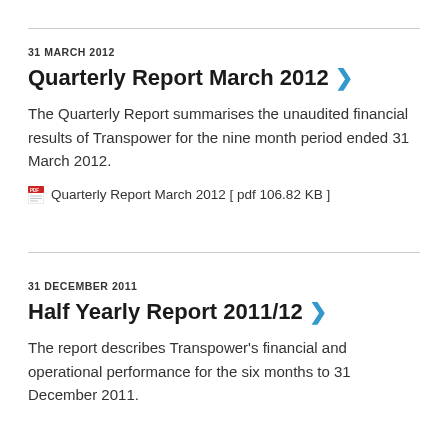31 MARCH 2012
Quarterly Report March 2012
The Quarterly Report summarises the unaudited financial results of Transpower for the nine month period ended 31 March 2012.
Quarterly Report March 2012 [ pdf 106.82 KB ]
31 DECEMBER 2011
Half Yearly Report 2011/12
The report describes Transpower's financial and operational performance for the six months to 31 December 2011.